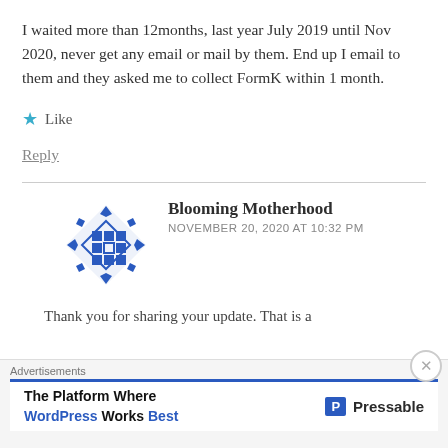I waited more than 12months, last year July 2019 until Nov 2020, never get any email or mail by them. End up I email to them and they asked me to collect FormK within 1 month.
★ Like
Reply
Blooming Motherhood
NOVEMBER 20, 2020 AT 10:32 PM
Thank you for sharing your update. That is a
Advertisements
The Platform Where WordPress Works Best   Pressable